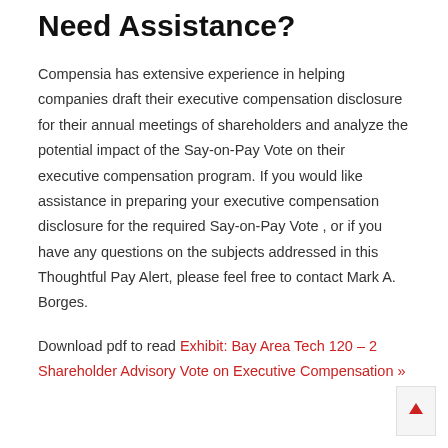Need Assistance?
Compensia has extensive experience in helping companies draft their executive compensation disclosure for their annual meetings of shareholders and analyze the potential impact of the Say-on-Pay Vote on their executive compensation program. If you would like assistance in preparing your executive compensation disclosure for the required Say-on-Pay Vote , or if you have any questions on the subjects addressed in this Thoughtful Pay Alert, please feel free to contact Mark A. Borges.
Download pdf to read Exhibit: Bay Area Tech 120 – 2 Shareholder Advisory Vote on Executive Compensation »